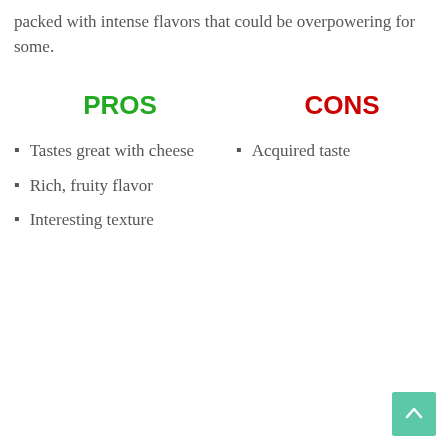packed with intense flavors that could be overpowering for some.
PROS
CONS
Tastes great with cheese
Rich, fruity flavor
Interesting texture
Acquired taste